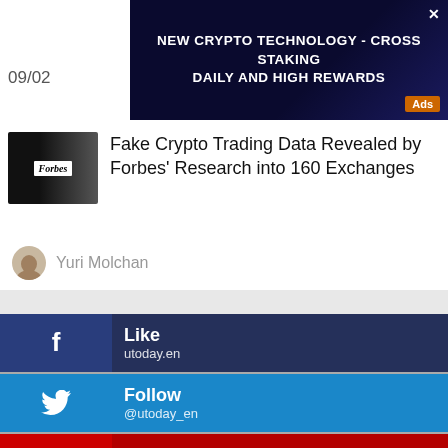[Figure (screenshot): Advertisement banner: NEW CRYPTO TECHNOLOGY - CROSS STAKING DAILY AND HIGH REWARDS with Ads badge and close button on dark blue background]
Fake Crypto Trading Data Revealed by Forbes' Research into 160 Exchanges
Yuri Molchan
Like
utoday.en
Follow
@utoday_en
Watch
utoday
Join
@utoday_en